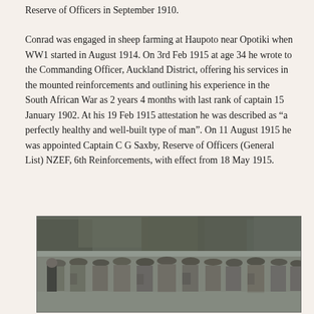Reserve of Officers in September 1910.
Conrad was engaged in sheep farming at Haupoto near Opotiki when WW1 started in August 1914. On 3rd Feb 1915 at age 34 he wrote to the Commanding Officer, Auckland District, offering his services in the mounted reinforcements and outlining his experience in the South African War as 2 years 4 months with last rank of captain 15 January 1902. At his 19 Feb 1915 attestation he was described as “a perfectly healthy and well-built type of man”. On 11 August 1915 he was appointed Captain C G Saxby, Reserve of Officers (General List) NZEF, 6th Reinforcements, with effect from 18 May 1915.
[Figure (photo): Black and white photograph of soldiers in WWI uniforms and helmets marching or assembled in a group, with trees visible in the background.]